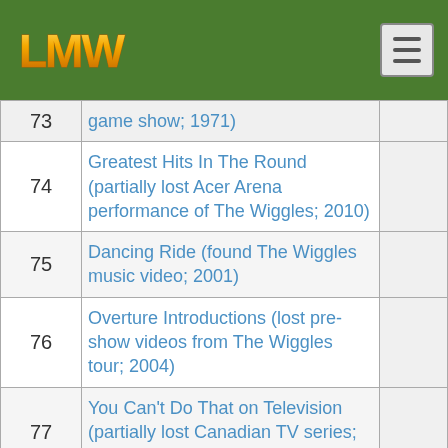LMW logo and menu button
| # | Title |  |
| --- | --- | --- |
| 73 | game show; 1971) |  |
| 74 | Greatest Hits In The Round (partially lost Acer Arena performance of The Wiggles; 2010) |  |
| 75 | Dancing Ride (found The Wiggles music video; 2001) |  |
| 76 | Overture Introductions (lost pre-show videos from The Wiggles tour; 2004) |  |
| 77 | You Can't Do That on Television (partially lost Canadian TV series; 1979–1990) |  |
| 78 | Christmas Celebration (lost footage of The Wiggles final performance; 2012) |  |
|  | The Daily Show (partially found Craig... |  |